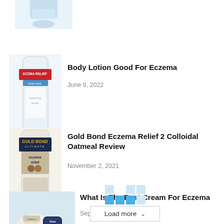[Figure (photo): Partially cropped product image at top of page]
[Figure (photo): Eczema Relief body lotion tube product image]
Body Lotion Good For Eczema
June 9, 2022
[Figure (photo): Gold Bond Ultimate Eczema Relief cream tube product image]
Gold Bond Eczema Relief 2 Colloidal Oatmeal Review
November 2, 2021
[Figure (photo): Multiple cream products for eczema including Aveeno and CeraVe]
What Is The Best Cream For Eczema
September 24, 2021
Load more